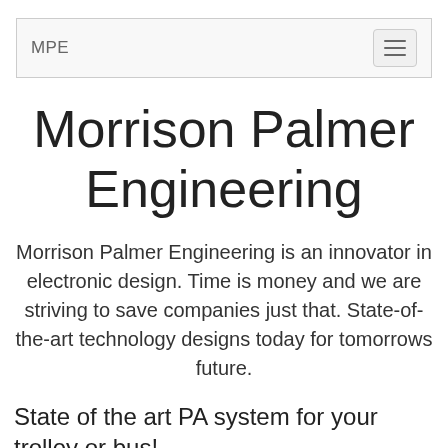MPE
Morrison Palmer Engineering
Morrison Palmer Engineering is an innovator in electronic design. Time is money and we are striving to save companies just that. State-of-the-art technology designs today for tomorrows future.
State of the art PA system for your trolley or bus!